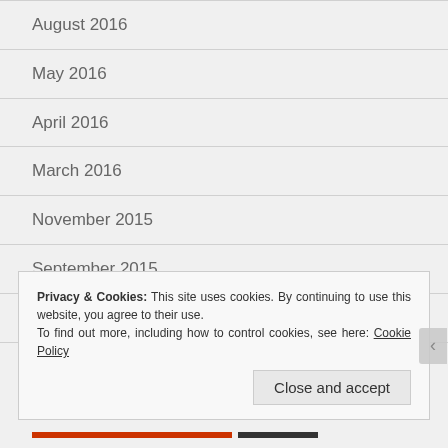August 2016
May 2016
April 2016
March 2016
November 2015
September 2015
August 2015
Privacy & Cookies: This site uses cookies. By continuing to use this website, you agree to their use.
To find out more, including how to control cookies, see here: Cookie Policy
Close and accept